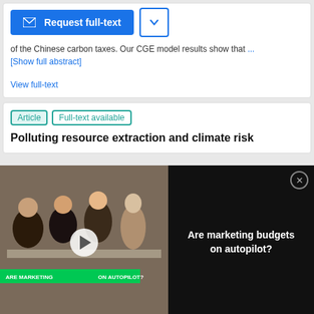[Figure (screenshot): Request full-text button (blue) and dropdown chevron button]
of the Chinese carbon taxes. Our CGE model results show that ... [Show full abstract]
View full-text
Article | Full-text available
Polluting resource extraction and climate risk
[Figure (screenshot): Video ad overlay: 'Are marketing budgets on autopilot?' with a photo of people in a meeting and a play button]
[Figure (screenshot): MilliporeSigma advertisement: Eliminating Blind Spots, with lab product image]